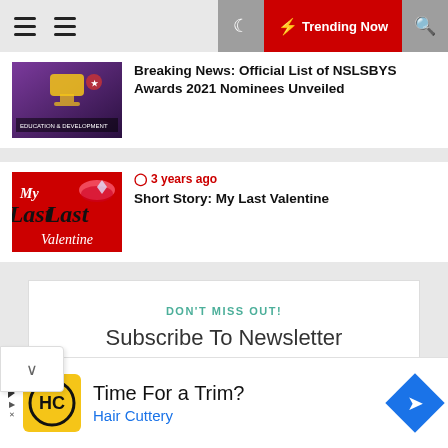Trending Now
[Figure (photo): Awards ceremony thumbnail — NSLSBYS Awards 2021]
Breaking News: Official List of NSLSBYS Awards 2021 Nominees Unveiled
[Figure (illustration): Red Valentine's Day graphic with cursive text: My Last Valentine]
3 years ago
Short Story: My Last Valentine
DON'T MISS OUT!
Subscribe To Newsletter
Time For a Trim?
Hair Cuttery